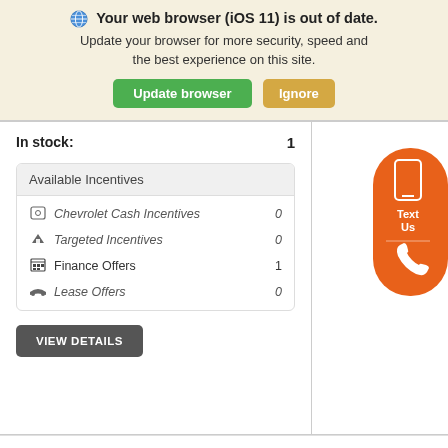Your web browser (iOS 11) is out of date. Update your browser for more security, speed and the best experience on this site. [Update browser] [Ignore]
In stock: 1
| Available Incentives |  |
| --- | --- |
| Chevrolet Cash Incentives | 0 |
| Targeted Incentives | 0 |
| Finance Offers | 1 |
| Lease Offers | 0 |
VIEW DETAILS
[Figure (screenshot): Orange pill-shaped button with phone/text icons labeled 'Text Us']
[Accessibility] Search | Contact | Garage